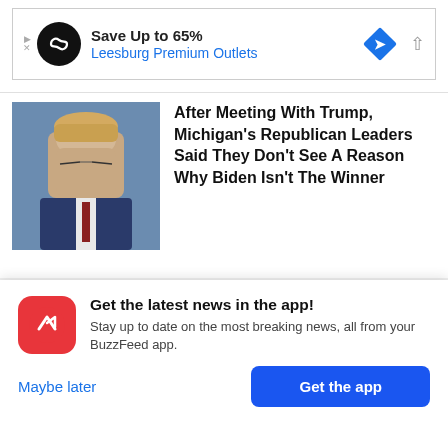[Figure (other): Advertisement banner for Leesburg Premium Outlets with logo and diamond arrow icon. Text: Save Up to 65% / Leesburg Premium Outlets]
After Meeting With Trump, Michigan's Republican Leaders Said They Don't See A Reason Why Biden Isn't The Winner
[Figure (photo): Photo of Donald Trump looking down, wearing a blue suit, in front of a blue background]
Ryan Brooks
Get the latest news in the app! Stay up to date on the most breaking news, all from your BuzzFeed app.
Maybe later
Get the app